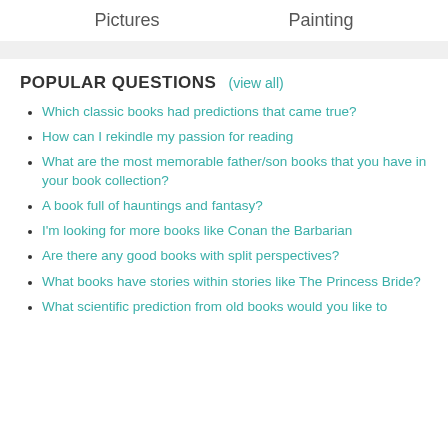Pictures    Painting
POPULAR QUESTIONS  (view all)
Which classic books had predictions that came true?
How can I rekindle my passion for reading
What are the most memorable father/son books that you have in your book collection?
A book full of hauntings and fantasy?
I'm looking for more books like Conan the Barbarian
Are there any good books with split perspectives?
What books have stories within stories like The Princess Bride?
What scientific prediction from old books would you like to see come true? (or that is coming true already)